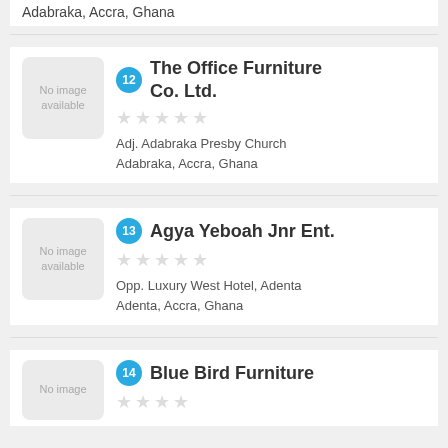Adabraka, Accra, Ghana
12 The Office Furniture Co. Ltd. — Adj. Adabraka Presby Church, Adabraka, Accra, Ghana
13 Agya Yeboah Jnr Ent. — Opp. Luxury West Hotel, Adenta, Adenta, Accra, Ghana
14 Blue Bird Furniture